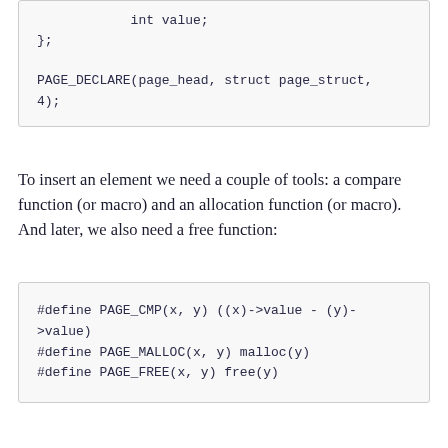int value;
};

PAGE_DECLARE(page_head, struct page_struct,
4);
To insert an element we need a couple of tools: a compare function (or macro) and an allocation function (or macro). And later, we also need a free function:
#define PAGE_CMP(x, y) ((x)->value - (y)->value)
#define PAGE_MALLOC(x, y) malloc(y)
#define PAGE_FREE(x, y) free(y)
The prototype for malloc and free has two elements: the first one is an arbitrary context pointer, the second argument is equal to malloc(3) and free(3). If you don't need special allocation, the redefinition